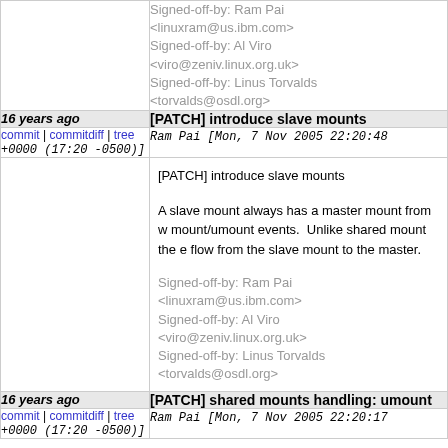Signed-off-by: Ram Pai <linuxram@us.ibm.com>
Signed-off-by: Al Viro <viro@zeniv.linux.org.uk>
Signed-off-by: Linus Torvalds <torvalds@osdl.org>
16 years ago	[PATCH] introduce slave mounts
commit | commitdiff | tree +0000 (17:20 -0500)]	Ram Pai [Mon, 7 Nov 2005 22:20:48 +0000 (17:20 -0500)]
[PATCH] introduce slave mounts

A slave mount always has a master mount from w... mount/umount events. Unlike shared mount the e... flow from the slave mount to the master.

Signed-off-by: Ram Pai <linuxram@us.ibm.com>
Signed-off-by: Al Viro <viro@zeniv.linux.org.uk>
Signed-off-by: Linus Torvalds <torvalds@osdl.org>
16 years ago	[PATCH] shared mounts handling: umount
commit | commitdiff | tree +0000 (17:20 -0500)]	Ram Pai [Mon, 7 Nov 2005 22:20:17 +0000 (17:20 -0500)]